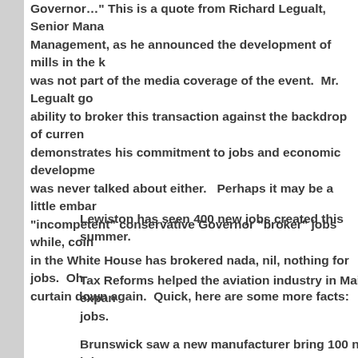Governor…" This is a quote from Richard Legualt, Senior Manager Management, as he announced the development of mills in the … was not part of the media coverage of the event.  Mr. Legualt go… ability to broker this transaction against the backdrop of curren… demonstrates his commitment to jobs and economic developme… was never talked about either.   Perhaps it may be a little embar… "incompetent" conservative Governor "broker" jobs while, coin… in the White House has brokered nada, nil, nothing for jobs.  Oh curtain down again.  Quick, here are some more facts:
Lewiston has seen 400 new jobs created this summer.
Tax Reforms helped the aviation industry in Maine expan… jobs.
Brunswick saw a new manufacturer bring 100 new jobs t…